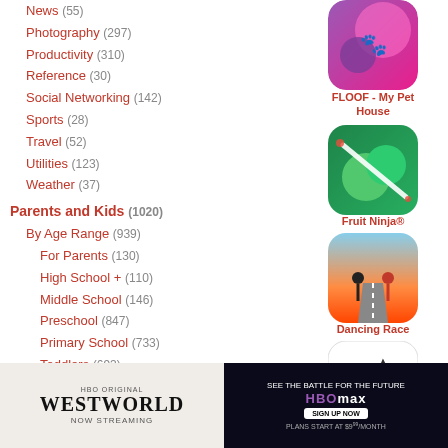News (55)
Photography (297)
Productivity (310)
Reference (30)
Social Networking (142)
Sports (28)
Travel (52)
Utilities (123)
Weather (37)
Parents and Kids (1020)
By Age Range (939)
For Parents (130)
High School + (110)
Middle School (146)
Preschool (847)
Primary School (733)
Toddlers (693)
By App Feature (964)
Animals (211)
Art (377)
Counting (66)
Creativity
Geography
History
[Figure (screenshot): FLOOF - My Pet House app icon]
FLOOF - My Pet House
[Figure (screenshot): Fruit Ninja app icon]
Fruit Ninja®
[Figure (screenshot): Dancing Race app icon]
Dancing Race
[Figure (screenshot): PeakFinder app icon]
PeakFinder
[Figure (screenshot): HBO Westworld ad banner on left side]
[Figure (screenshot): HBO Max advertisement banner on right side]